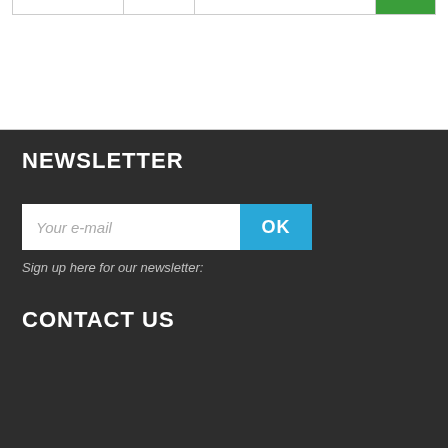[Figure (screenshot): Partial table row with cells and a green button at the top of the page]
NEWSLETTER
[Figure (screenshot): Email input field with placeholder 'Your e-mail' and a blue OK button]
Sign up here for our newsletter:
CONTACT US
[Figure (screenshot): Cookie consent bar with 'I accept' green button and 'More information' blue button over purple background]
Our webshop uses cookies to offer a better user experience and we recommend you to accept their use to fully enjoy your navigation.